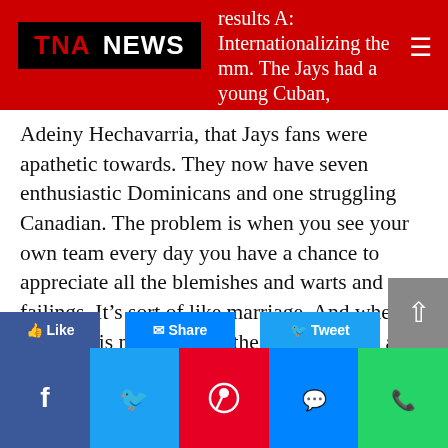TNA NEWS
results A: Internationalizing the mm. The Jays had a young Cuban, Adeiny Hechavarria, that Jays fans were apathetic towards. They now have seven enthusiastic Dominicans and one struggling Canadian. The problem is when you see your own team every day you have a chance to appreciate all the blemishes and warts and failings. It’s sort of like marriage. And when the team is not winning, the shortcomings are all accentuated. It’s like your own kids. Everyone else’s seem better sometimes, especially when they are giving you problems.
Facebook Twitter Pinterest Messenger WhatsApp